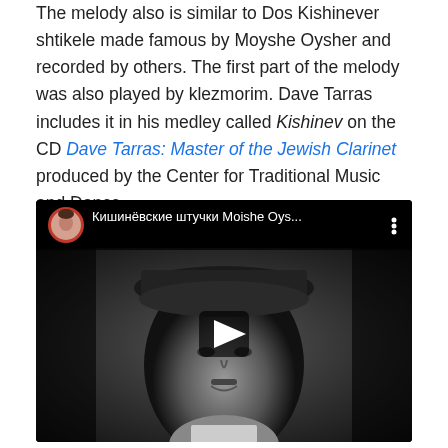The melody also is similar to Dos Kishinever shtikele made famous by Moyshe Oysher and recorded by others. The first part of the melody was also played by klezmorim. Dave Tarras includes it in his medley called Kishinev on the CD Dave Tarras: Master of the Jewish Clarinet produced by the Center for Traditional Music and Dance.
[Figure (screenshot): YouTube video embed showing a black and white portrait photo of Moishe Oysher wearing a hat, with the video title 'Кишинёвские штучки Moishe Oys...' displayed in a top bar with a channel avatar, and a play button in the center of the video.]